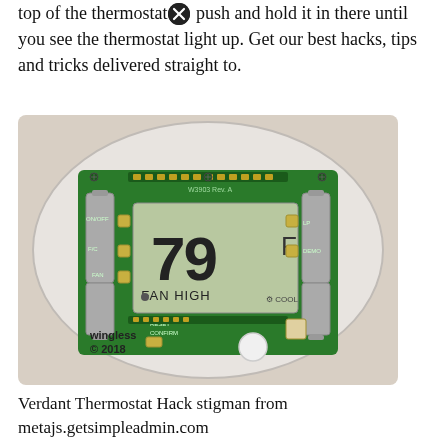top of the thermostat push and hold it in there until you see the thermostat light up. Get our best hacks, tips and tricks delivered straight to.
[Figure (photo): Open back of a Verdant thermostat showing green circuit board, LCD display reading 79 F with FAN HIGH label, two AA batteries on each side. Watermark: wingless © 2018]
Verdant Thermostat Hack stigman from metajs.getsimpleadmin.com
How do you change a verdant thermostat to heat? The thermostats are simple to install which allows r team to be in and